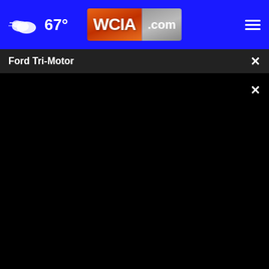67° WCIA.com
Ford Tri-Motor
[Figure (screenshot): Video player showing black/blank video frame for 'Ford Tri-Motor' with playback controls: play button, mute button, time display 00:00, closed captions button, fullscreen button, and a progress bar with white dot at start.]
* By clicking "NEXT" you agree to the following: We use cookies your survey answers. If you would like to continue with this survey, please read
[Figure (photo): Advertisement banner showing two men standing outdoors with text 'If you’re noticing changes, it could be Alzheimer’s. Visit a doctor together.' on purple background.]